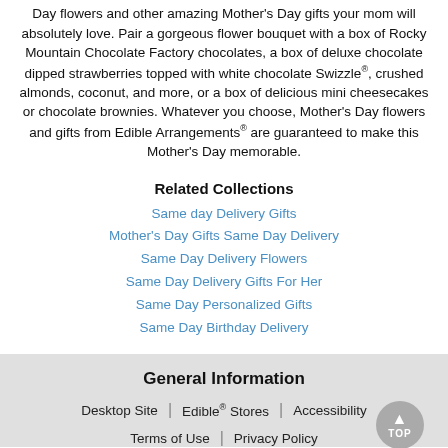Day flowers and other amazing Mother's Day gifts your mom will absolutely love. Pair a gorgeous flower bouquet with a box of Rocky Mountain Chocolate Factory chocolates, a box of deluxe chocolate dipped strawberries topped with white chocolate Swizzle®, crushed almonds, coconut, and more, or a box of delicious mini cheesecakes or chocolate brownies. Whatever you choose, Mother's Day flowers and gifts from Edible Arrangements® are guaranteed to make this Mother's Day memorable.
Related Collections
Same day Delivery Gifts
Mother's Day Gifts Same Day Delivery
Same Day Delivery Flowers
Same Day Delivery Gifts For Her
Same Day Personalized Gifts
Same Day Birthday Delivery
General Information
Desktop Site | Edible® Stores | Accessibility | Terms of Use | Privacy Policy